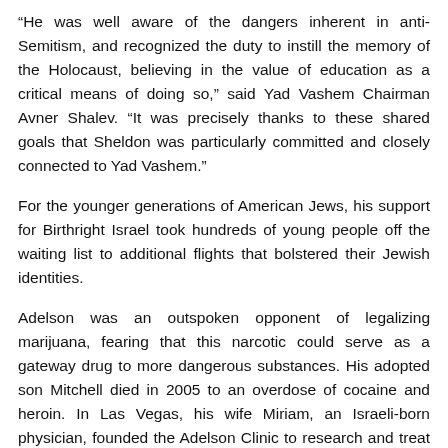“He was well aware of the dangers inherent in anti-Semitism, and recognized the duty to instill the memory of the Holocaust, believing in the value of education as a critical means of doing so,” said Yad Vashem Chairman Avner Shalev. “It was precisely thanks to these shared goals that Sheldon was particularly committed and closely connected to Yad Vashem.”
For the younger generations of American Jews, his support for Birthright Israel took hundreds of young people off the waiting list to additional flights that bolstered their Jewish identities.
Adelson was an outspoken opponent of legalizing marijuana, fearing that this narcotic could serve as a gateway drug to more dangerous substances. His adopted son Mitchell died in 2005 to an overdose of cocaine and heroin. In Las Vegas, his wife Miriam, an Israeli-born physician, founded the Adelson Clinic to research and treat substance abuse. “Sheldon and Miriam’s efforts to combat addiction and substance abuse in the Silver State changed the lives of many,” wrote Sen. Jacky Rosen. “As Jewish leaders, we